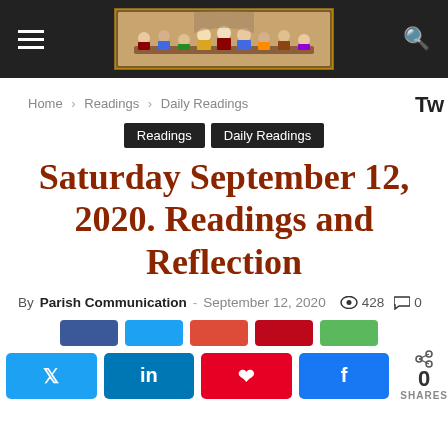Parish Communication website header with navigation (hamburger menu, Last Supper image logo, search icon)
Tw
Home › Readings › Daily Readings
Readings   Daily Readings
Saturday September 12, 2020. Readings and Reflection
By Parish Communication - September 12, 2020   428   0
[Figure (other): Social share buttons row (small): Facebook, Twitter, Google+, Pinterest, Green share button]
[Figure (other): Social share buttons row (large): Twitter, LinkedIn, Pinterest, Facebook, with share count 0 SHARES]